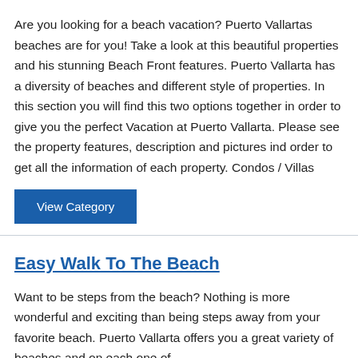Are you looking for a beach vacation? Puerto Vallartas beaches are for you! Take a look at this beautiful properties and his stunning Beach Front features. Puerto Vallarta has a diversity of beaches and different style of properties. In this section you will find this two options together in order to give you the perfect Vacation at Puerto Vallarta. Please see the property features, description and pictures ind order to get all the information of each property. Condos / Villas
View Category
Easy Walk To The Beach
Want to be steps from the beach? Nothing is more wonderful and exciting than being steps away from your favorite beach. Puerto Vallarta offers you a great variety of beaches and on each one of